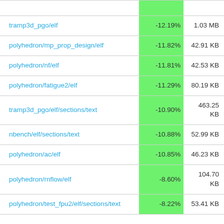|  |  |  |
| --- | --- | --- |
| tramp3d_pgo/elf | -12.19% | 1.03 MB |
| polyhedron/mp_prop_design/elf | -11.82% | 42.91 KB |
| polyhedron/nf/elf | -11.81% | 42.53 KB |
| polyhedron/fatigue2/elf | -11.29% | 80.19 KB |
| tramp3d_pgo/elf/sections/text | -10.90% | 463.25 KB |
| nbench/elf/sections/text | -10.88% | 52.99 KB |
| polyhedron/ac/elf | -10.85% | 46.23 KB |
| polyhedron/rnflow/elf | -8.60% | 104.70 KB |
| polyhedron/test_fpu2/elf/sections/text | -8.22% | 53.41 KB |